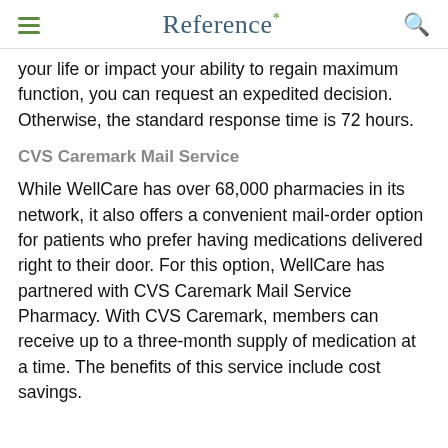Reference*
your life or impact your ability to regain maximum function, you can request an expedited decision. Otherwise, the standard response time is 72 hours.
CVS Caremark Mail Service
While WellCare has over 68,000 pharmacies in its network, it also offers a convenient mail-order option for patients who prefer having medications delivered right to their door. For this option, WellCare has partnered with CVS Caremark Mail Service Pharmacy. With CVS Caremark, members can receive up to a three-month supply of medication at a time. The benefits of this service include cost savings.